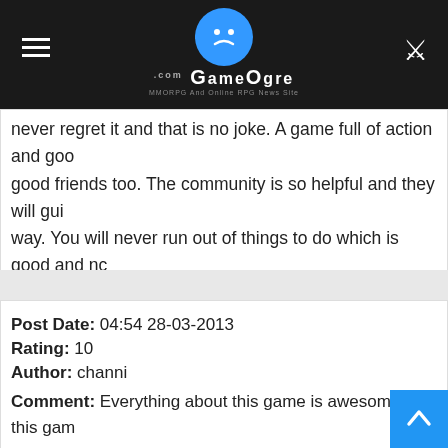GameOgre.com - MMORPG And Online RPG News Site
never regret it and that is no joke. A game full of action and good friends too. The community is so helpful and they will guide way. You will never run out of things to do which is good and make game boring. PVP with other faction is another thing to look up is PK area which is one of the things i like. First time i played one and i plan to stay long. What are you guys waiting for? Come now. This game really deserves a rating of 10. PURE AWESOME power! Good luck. 🙂
Post Date: 04:54 28-03-2013
Rating: 10
Author: channi
Comment: Everything about this game is awesomeee! this game is so addictive that i cannot stop playing it. the graphics are so cool, much much better than all the other game's graphics. another thing that i really really li